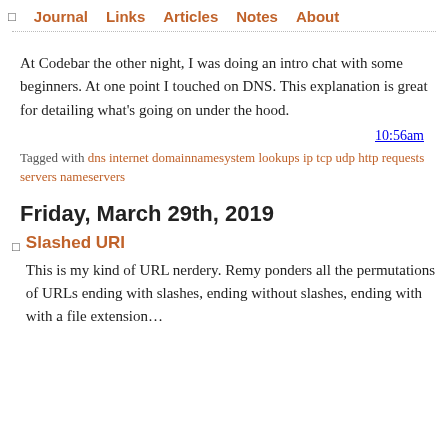Journal  Links  Articles  Notes  About
At Codebar the other night, I was doing an intro chat with some beginners. At one point I touched on DNS. This explanation is great for detailing what's going on under the hood.
10:56am
Tagged with dns internet domainnamesystem lookups ip tcp udp http requests servers nameservers
Friday, March 29th, 2019
Slashed URI
This is my kind of URL nerdery. Remy ponders all the permutations of URLs ending with slashes, ending without slashes, ending with with a file extension…